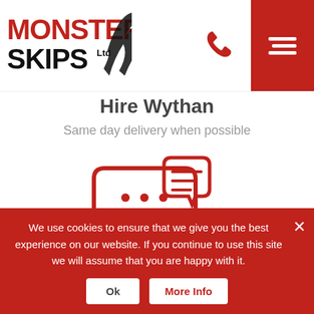[Figure (logo): Monster Skips Ltd logo with red MONSTER text, black SKIPS Ltd text, and black swoosh/wing graphic]
[Figure (illustration): Red phone handset icon in header]
[Figure (illustration): Red hamburger menu icon on dark red background in top right]
Hire Wythan
Same day delivery when possible
[Figure (illustration): Red icon of two speech bubbles with dots and pencil/edit icon]
HAVE A QUESTION?
Free advice and information
We use cookies to ensure that we give you the best experience on our website. If you continue to use this site we will assume that you are happy with it.
Ok
More Info